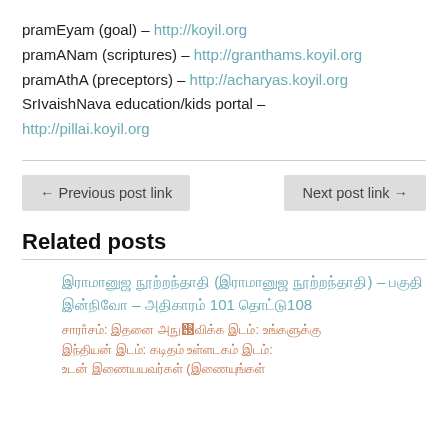pramEyam (goal) – http://koyil.org
pramANam (scriptures) – http://granthams.koyil.org
pramAthA (preceptors) – http://acharyas.koyil.org
SrIvaishNava education/kids portal – http://pillai.koyil.org
← Previous post link
Next post link →
Related posts
Related post link title – part 101 to 108
Snippet text in regional script